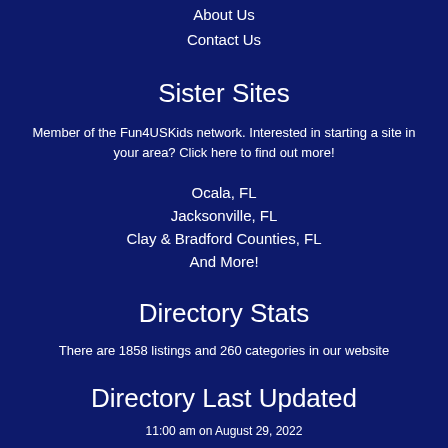About Us
Contact Us
Sister Sites
Member of the Fun4USKids network. Interested in starting a site in your area? Click here to find out more!
Ocala, FL
Jacksonville, FL
Clay & Bradford Counties, FL
And More!
Directory Stats
There are 1858 listings and 260 categories in our website
Directory Last Updated
11:00 am on August 29, 2022
[Figure (other): Social media icons (Facebook and Twitter/other)]